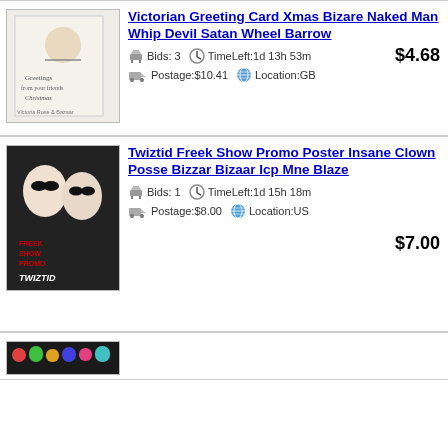[Figure (photo): Thumbnail image of a Victorian greeting card with a figure]
Victorian Greeting Card Xmas Bizare Naked Man Whip Devil Satan Wheel Barrow
$4.68
🔨 Bids: 3   🕐 TimeLeft:1d 13h 53m
🚚 Postage:$10.41   🌐 Location:GB
[Figure (photo): Thumbnail image of Twiztid Freek Show promo poster]
Twiztid Freek Show Promo Poster Insane Clown Posse Bizzar Bizaar Icp Mne Blaze
$7.00
🔨 Bids: 1   🕐 TimeLeft:1d 15h 18m
🚚 Postage:$8.00   🌐 Location:US
[Figure (photo): Partial thumbnail of a third listing item]